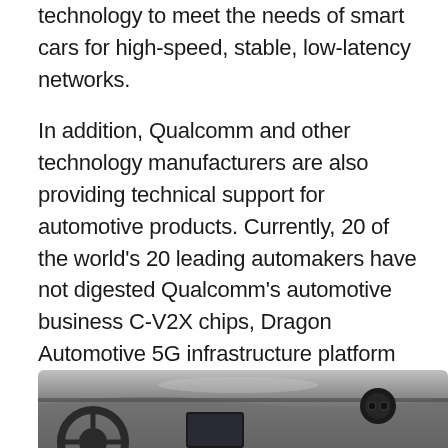technology to meet the needs of smart cars for high-speed, stable, low-latency networks.
In addition, Qualcomm and other technology manufacturers are also providing technical support for automotive products. Currently, 20 of the world's 20 leading automakers have not digested Qualcomm's automotive business C-V2X chips, Dragon Automotive 5G infrastructure platform and, moreover, an $ 8 billion order from the automaker. At the Shanghai Motor Show, one can also see that many well-known domestic cars also use Qualcomm's technology.
[Figure (photo): Interior dashboard view of a modern car showing steering wheel, center console screen, and a small round device on the dashboard, photographed in grayscale/dark tones.]